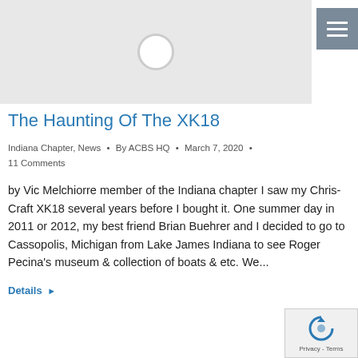[Figure (photo): Light gray placeholder image area with a circular icon at top center, representing a loading or unavailable image]
The Haunting Of The XK18
Indiana Chapter, News · By ACBS HQ · March 7, 2020 · 11 Comments
by Vic Melchiorre member of the Indiana chapter I saw my Chris-Craft XK18 several years before I bought it. One summer day in 2011 or 2012, my best friend Brian Buehrer and I decided to go to Cassopolis, Michigan from Lake James Indiana to see Roger Pecina's museum & collection of boats & etc. We...
Details ▶